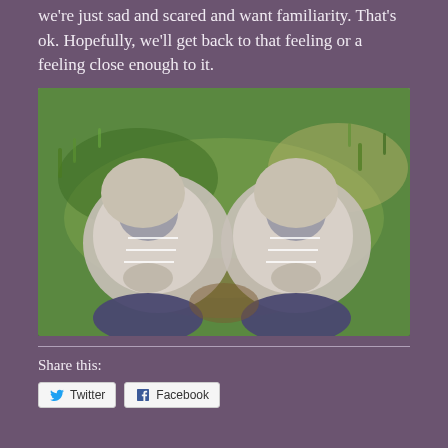we're just sad and scared and want familiarity. That's ok. Hopefully, we'll get back to that feeling or a feeling close enough to it.
[Figure (photo): Overhead view looking down at two worn white athletic/hiking shoes standing on green grass and foliage, with blue pants/jeans visible at the bottom.]
Share this:
Twitter  Facebook